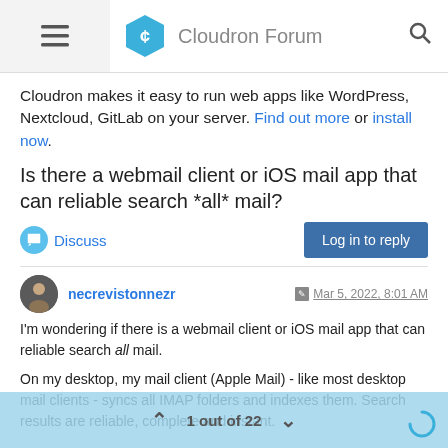Cloudron Forum
Cloudron makes it easy to run web apps like WordPress, Nextcloud, GitLab on your server. Find out more or install now.
Is there a webmail client or iOS mail app that can reliable search *all* mail?
Discuss | Log in to reply
necrevistonnezr  Mar 5, 2022, 8:01 AM
I'm wondering if there is a webmail client or iOS mail app that can reliable search all mail.

On my desktop, my mail client (Apple Mail) - like most desktop mail clients - syncs all IMAP folders and indexes them. Search results are reliable, complete and instant.